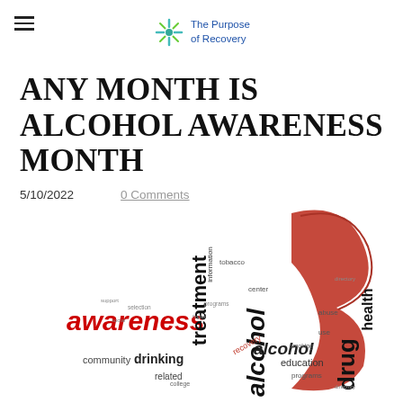The Purpose of Recovery
ANY MONTH IS ALCOHOL AWARENESS MONTH
5/10/2022    0 Comments
[Figure (illustration): Word cloud in the shape of awareness ribbons and text, featuring words like awareness, alcohol, treatment, drinking, community, drug, health, education, information, tobacco, related, programs, use, abuse, center, smoking, college, recovery, etc. The word 'awareness' is in red, 'alcohol' is large in black, 'drug' is large in black on the right, and a red ribbon decorates the right side.]